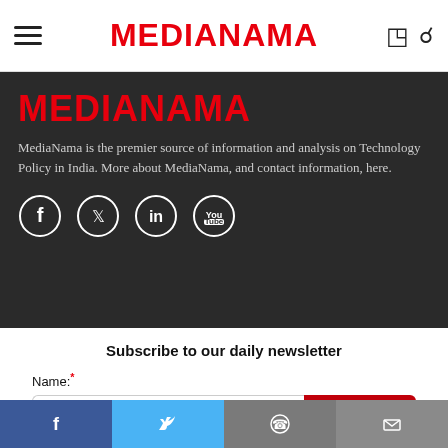MEDIANAMA
MEDIANAMA
MediaNama is the premier source of information and analysis on Technology Policy in India. More about MediaNama, and contact information, here.
[Figure (infographic): Social media icons: Facebook, Twitter, LinkedIn, YouTube — white circle outlines on dark background]
Subscribe to our daily newsletter
Name: * Please introduce yourself [SUBSCRIBE button]
[Figure (infographic): Bottom share bar with Facebook (blue), Twitter (light blue), WhatsApp (grey), Email (grey) buttons]